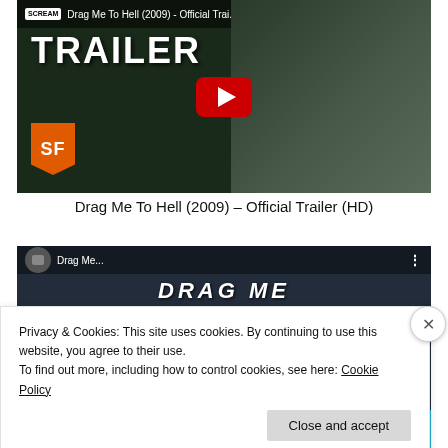[Figure (screenshot): YouTube video thumbnail for 'Drag Me To Hell (2009) - Official Trailer...' showing a woman's face with dark teal tones, TRAILER text, SF badge, and red YouTube play button]
Drag Me To Hell (2009) – Official Trailer (HD)
[Figure (screenshot): Second YouTube video thumbnail showing 'DRAG ME' text in italic over dark background with cyan bar at the bottom]
Privacy & Cookies: This site uses cookies. By continuing to use this website, you agree to their use.
To find out more, including how to control cookies, see here: Cookie Policy
Close and accept